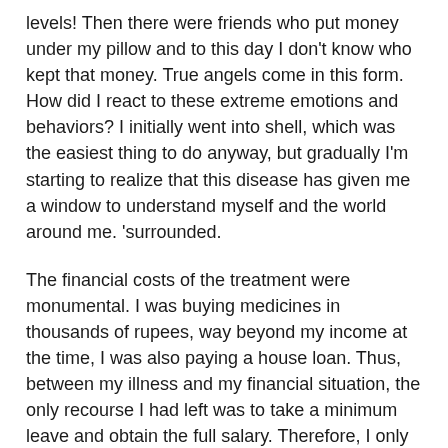levels! Then there were friends who put money under my pillow and to this day I don't know who kept that money. True angels come in this form. How did I react to these extreme emotions and behaviors? I initially went into shell, which was the easiest thing to do anyway, but gradually I'm starting to realize that this disease has given me a window to understand myself and the world around me. 'surrounded.
The financial costs of the treatment were monumental. I was buying medicines in thousands of rupees, way beyond my income at the time, I was also paying a house loan. Thus, between my illness and my financial situation, the only recourse I had left was to take a minimum leave and obtain the full salary. Therefore, I only took three days off when I was given chemo. I forced my body and mind to obey my commands and walked into the classroom to teach after sessions that later proved therapeutic in my recovery. I also had to continue my household responsibilities, caring for my sick mother who took her to the hospital countless times. The doctors treating me were also against taking a long sick leave because they never wanted my physical condition to affect my mental health. One said